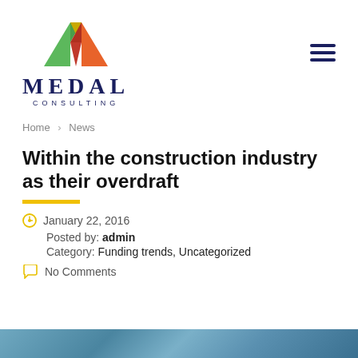[Figure (logo): Medal Consulting logo with colorful geometric M shape above the text MEDAL CONSULTING]
Home > News
Within the construction industry as their overdraft
January 22, 2016
Posted by: admin
Category: Funding trends, Uncategorized
No Comments
[Figure (photo): Blue/teal abstract image bar at the bottom of the page]